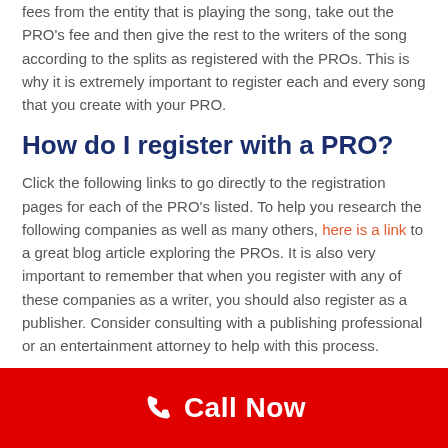fees from the entity that is playing the song, take out the PRO's fee and then give the rest to the writers of the song according to the splits as registered with the PROs. This is why it is extremely important to register each and every song that you create with your PRO.
How do I register with a PRO?
Click the following links to go directly to the registration pages for each of the PRO's listed. To help you research the following companies as well as many others, here is a link to a great blog article exploring the PROs. It is also very important to remember that when you register with any of these companies as a writer, you should also register as a publisher. Consider consulting with a publishing professional or an entertainment attorney to help with this process.
Call Now